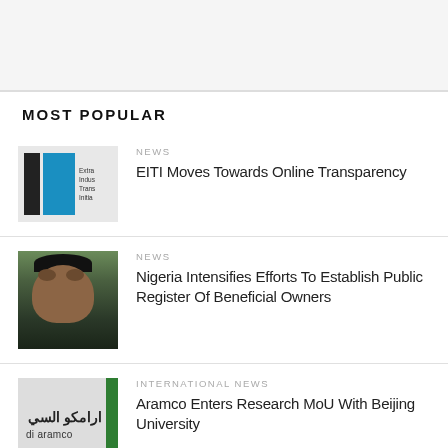MOST POPULAR
[Figure (photo): EITI (Extractive Industries Transparency Initiative) logo on grey background]
NEWS
EITI Moves Towards Online Transparency
[Figure (photo): Nigerian official wearing black cap against green background]
NEWS
Nigeria Intensifies Efforts To Establish Public Register Of Beneficial Owners
[Figure (logo): Saudi Aramco logo with Arabic text and green stripe]
INTERNATIONAL NEWS
Aramco Enters Research MoU With Beijing University